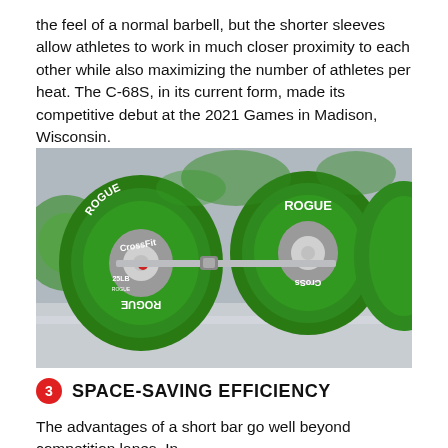the feel of a normal barbell, but the shorter sleeves allow athletes to work in much closer proximity to each other while also maximizing the number of athletes per heat. The C-68S, in its current form, made its competitive debut at the 2021 Games in Madison, Wisconsin.
[Figure (photo): Close-up photo of green Rogue CrossFit 25LB weight plates stacked on a barbell, showing the CrossFit and Rogue branding on the plates.]
3 SPACE-SAVING EFFICIENCY
The advantages of a short bar go well beyond competition lanes. In